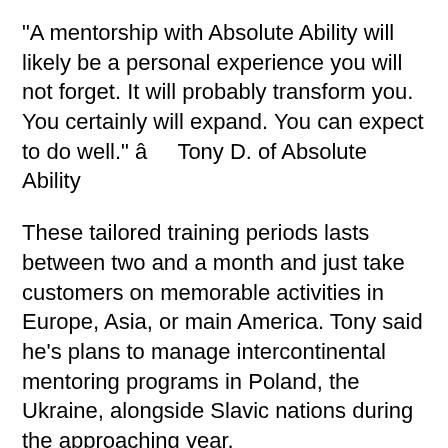“A mentorship with Absolute Ability will likely be a personal experience you will not forget. It will probably transform you. You certainly will expand. You can expect to do well.” â Tony D. of Absolute Ability
These tailored training periods lasts between two and a month and just take customers on memorable activities in Europe, Asia, or main America. Tony said he’s plans to manage intercontinental mentoring programs in Poland, the Ukraine, alongside Slavic nations during the approaching year.
“Traveling can drive men out of their convenience areas,” the guy stated. “It really is powerful stuff because it assists them conquer their particular stress and anxiety of traveling and flirting on the other hand.”
Anyone looking to boost their social abilities and flirtation skills can join Tony throughout the adventure